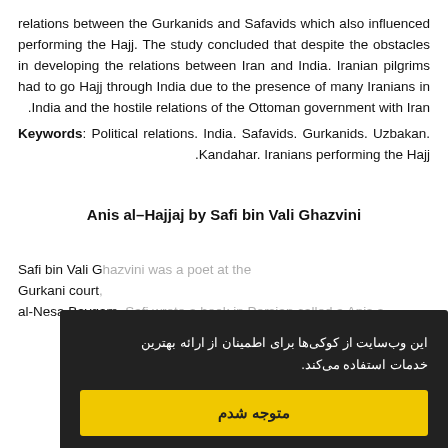relations between the Gurkanids and Safavids which also influenced performing the Hajj. The study concluded that despite the obstacles in developing the relations between Iran and India Iranian pilgrims had to go Hajj through India due to the presence of many Iranians in India and the hostile relations of the Ottoman government with Iran.
Keywords: Political relations. India. Safavids. Gurkanids. Uzbakan. Kandahar. Iranians performing the Hajj.
Anis al–Hajjaj by Safi bin Vali Ghazvini
Safi bin Vali G... Gurkani court... al-Nesa Baygam. Safi wrote a book in Persian called a Anis a... Haji is... ...in Haji is... in 1997. A b. Anis...
این وب‌سایت از کوکی‌ها برای اطمینان از ارائه بهترین خدمات استفاده می‌کند.
متوجه شدم